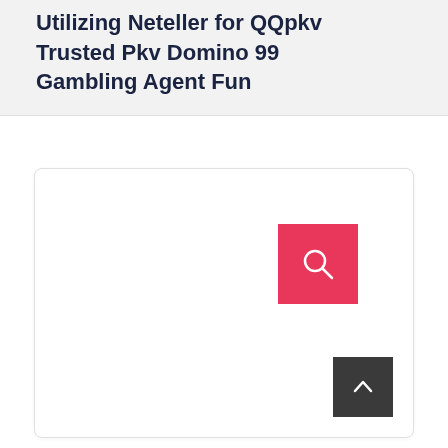Utilizing Neteller for QQpkv Trusted Pkv Domino 99 Gambling Agent Fun
[Figure (other): White card area with a pink/red search icon button in the upper right, and a dark gray back-to-top arrow button in the lower right corner]